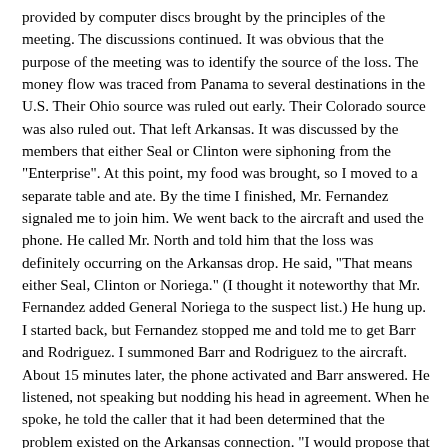provided by computer discs brought by the principles of the meeting. The discussions continued. It was obvious that the purpose of the meeting was to identify the source of the loss. The money flow was traced from Panama to several destinations in the U.S. Their Ohio source was ruled out early. Their Colorado source was also ruled out. That left Arkansas. It was discussed by the members that either Seal or Clinton were siphoning from the "Enterprise". At this point, my food was brought, so I moved to a separate table and ate. By the time I finished, Mr. Fernandez signaled me to join him. We went back to the aircraft and used the phone. He called Mr. North and told him that the loss was definitely occurring on the Arkansas drop. He said, "That means either Seal, Clinton or Noriega." (I thought it noteworthy that Mr. Fernandez added General Noriega to the suspect list.) He hung up. I started back, but Fernandez stopped me and told me to get Barr and Rodriguez. I summoned Barr and Rodriguez to the aircraft. About 15 minutes later, the phone activated and Barr answered. He listened, not speaking but nodding his head in agreement. When he spoke, he told the caller that it had been determined that the problem existed on the Arkansas connection. "I would propose that no one source would be bold enough to siphon out that much money, but it is more plausible that each are sihoning a portion causing a drastic loss." He then acknowledged something with a "Yes, sir," and told the caller he would see him and give an up-dated report in two days. At that point the phone was handed to